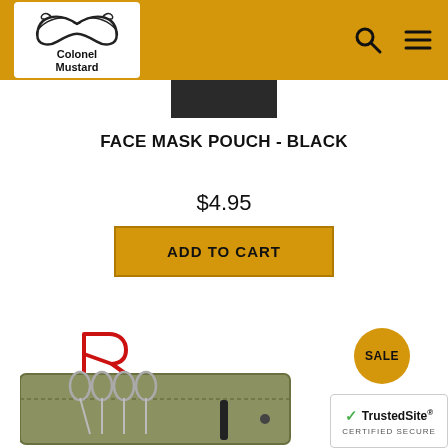[Figure (logo): Colonel Mustard website header with yellow/mustard background, logo showing stylized mustache with text 'Colonel Mustard', search icon and hamburger menu icon on right]
[Figure (photo): Partial top view of black face mask pouch product image]
FACE MASK POUCH - BLACK
$4.95
ADD TO CART
[Figure (logo): Rothco brand logo - red stylized R with ROTHCO text below]
SALE
[Figure (photo): Olive green tactical pouch with scissors/tools visible]
[Figure (logo): TrustedSite CERTIFIED SECURE badge]